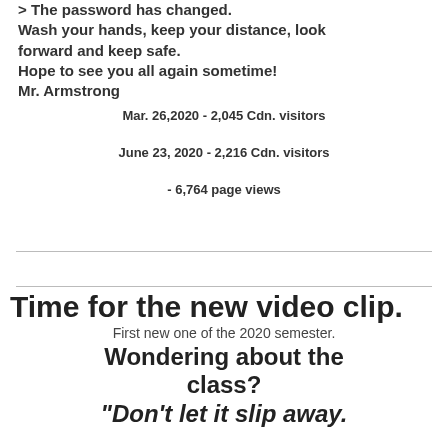> The password has changed. Wash your hands, keep your distance, look forward and keep safe. Hope to see you all again sometime! Mr. Armstrong
Mar. 26,2020 - 2,045 Cdn. visitors
June 23, 2020 - 2,216 Cdn. visitors
- 6,764 page views
Time for the new video clip.
First new one of the 2020 semester.
Wondering about the class?
"Don't let it slip away.